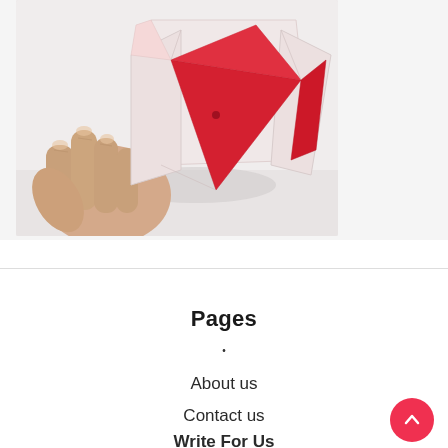[Figure (photo): A hand holding a folded paper origami structure with white and red triangular shapes, photographed against a white background.]
Pages
About us
Contact us
Write For Us